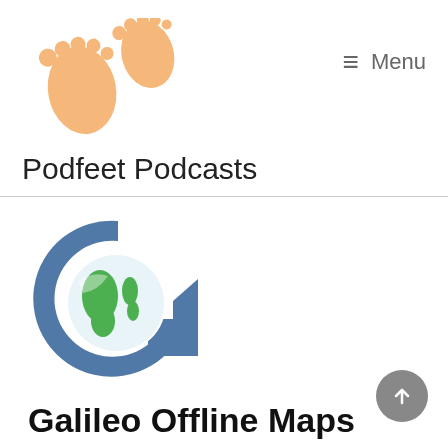[Figure (logo): Podfeet Podcasts logo with two orange footprint icons]
Podfeet Podcasts
[Figure (logo): Galileo Offline Maps Pro logo - a blue letter G shape with a globe/earth icon inside]
Galileo Offline Maps Pro for iOS and Android
September 1, 2017  by podfeet
2 Comments